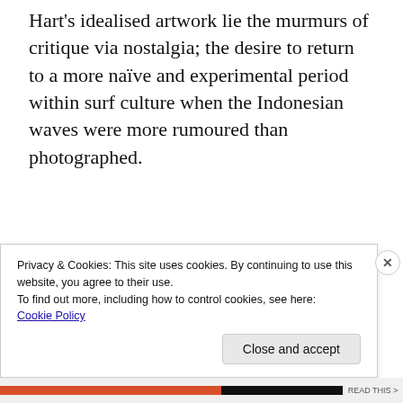Hart's idealised artwork lie the murmurs of critique via nostalgia; the desire to return to a more naïve and experimental period within surf culture when the Indonesian waves were more rumoured than photographed.
Take off and die
In contrast to the above themes, the last two
Privacy & Cookies: This site uses cookies. By continuing to use this website, you agree to their use.
To find out more, including how to control cookies, see here:
Cookie Policy
Close and accept